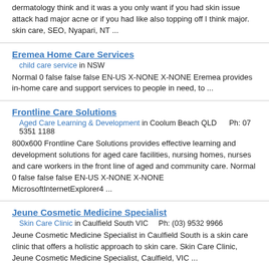dermatology think and it was a you only want if you had skin issue attack had major acne or if you had like also topping off I think major. skin care, SEO, Nyapari, NT ...
Eremea Home Care Services
child care service in NSW
Normal 0 false false false EN-US X-NONE X-NONE Eremea provides in-home care and support services to people in need, to ...
Frontline Care Solutions
Aged Care Learning & Development in Coolum Beach QLD    Ph: 07 5351 1188
800x600 Frontline Care Solutions provides effective learning and development solutions for aged care facilities, nursing homes, nurses and care workers in the front line of aged and community care. Normal 0 false false false EN-US X-NONE X-NONE MicrosoftInternetExplorer4 ...
Jeune Cosmetic Medicine Specialist
Skin Care Clinic in Caulfield South VIC    Ph: (03) 9532 9966
Jeune Cosmetic Medicine Specialist in Caulfield South is a skin care clinic that offers a holistic approach to skin care. Skin Care Clinic, Jeune Cosmetic Medicine Specialist, Caulfield, VIC ...